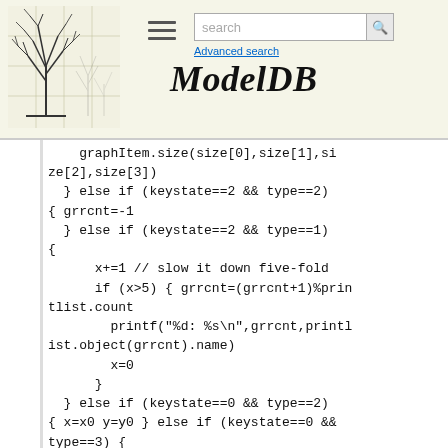[Figure (logo): ModelDB website header with tree logo, hamburger menu, search box with 'search' placeholder and magnifier button, 'Advanced search' link, and ModelDB italic title]
graphItem.size(size[0],size[1],size[2],size[3])
  } else if (keystate==2 && type==2)
{ grrcnt=-1
  } else if (keystate==2 && type==1)
{
      x+=1 // slow it down five-fold
      if (x>5) { grrcnt=(grrcnt+1)%printlist.count
        printf("%d: %s\n",grrcnt,printlist.object(grrcnt).name)
        x=0
      }
  } else if (keystate==0 && type==2)
{ x=x0 y=y0 } else if (keystate==0 && type==3) {
      graphItem.size(x,x0,y,y0) // resize to chosen square
  }
}